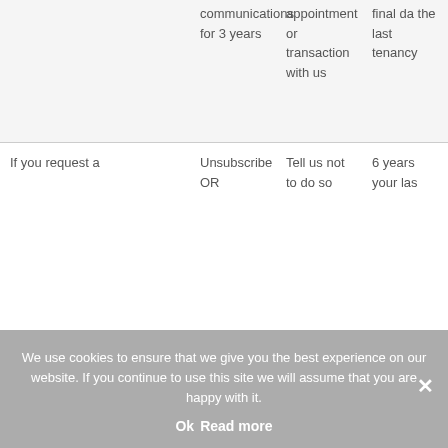|  | communications for 3 years | appointment or transaction with us | final da the last tenancy |
| If you request a | Unsubscribe OR | Tell us not to do so | 6 years your las |
We use cookies to ensure that we give you the best experience on our website. If you continue to use this site we will assume that you are happy with it.
Ok   Read more